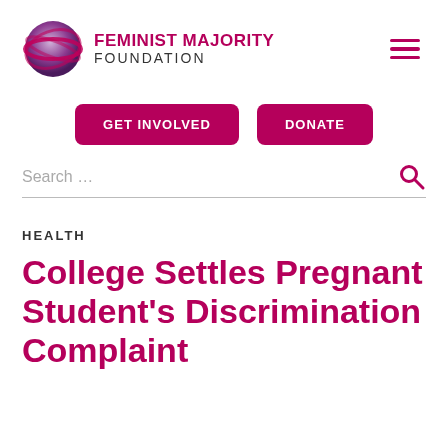[Figure (logo): Feminist Majority Foundation logo with globe SVG and organization name]
FEMINIST MAJORITY FOUNDATION
GET INVOLVED
DONATE
HEALTH
College Settles Pregnant Student’s Discrimination Complaint